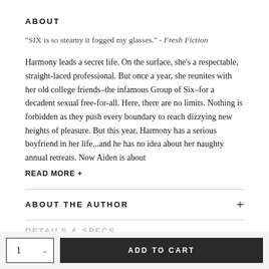ABOUT
"SIX is so steamy it fogged my glasses." - Fresh Fiction
Harmony leads a secret life. On the surface, she's a respectable, straight-laced professional. But once a year, she reunites with her old college friends–the infamous Group of Six–for a decadent sexual free-for-all. Here, there are no limits. Nothing is forbidden as they push every boundary to reach dizzying new heights of pleasure. But this year, Harmony has a serious boyfriend in her life...and he has no idea about her naughty annual retreats. Now Aiden is about
READ MORE +
ABOUT THE AUTHOR
DETAILS & SPECS